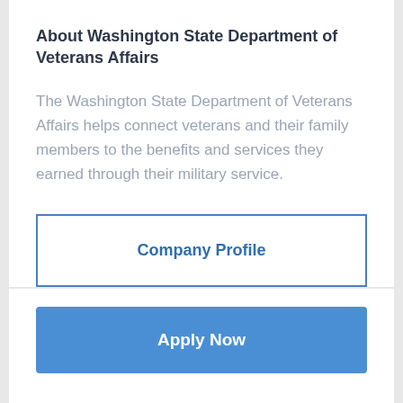About Washington State Department of Veterans Affairs
The Washington State Department of Veterans Affairs helps connect veterans and their family members to the benefits and services they earned through their military service.
Company Profile
Apply Now